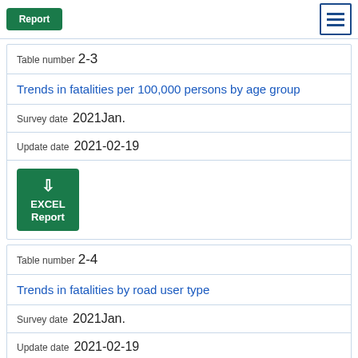[Figure (screenshot): Green EXCEL Report button with download arrow at top]
[Figure (other): Blue hamburger menu button at top right]
Table number 2-3
Trends in fatalities per 100,000 persons by age group
Survey date  2021Jan.
Update date  2021-02-19
[Figure (other): Green EXCEL Report download button]
Table number 2-4
Trends in fatalities by road user type
Survey date  2021Jan.
Update date  2021-02-19
[Figure (other): Green EXCEL Report download button (partially visible)]